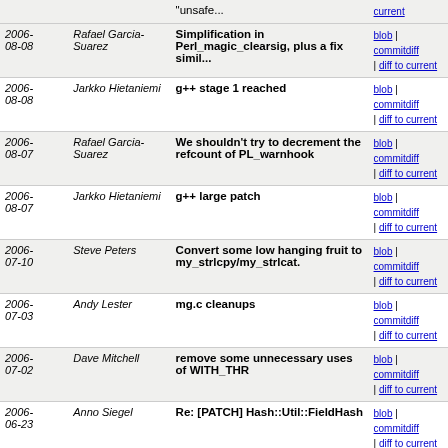| Date | Author | Message | Links |
| --- | --- | --- | --- |
|  |  | "unsafe... | blob | commitdiff | diff to current |
| 2006-08-08 | Rafael Garcia-Suarez | Simplification in Perl_magic_clearsig, plus a fix simil... | blob | commitdiff | diff to current |
| 2006-08-08 | Jarkko Hietaniemi | g++ stage 1 reached | blob | commitdiff | diff to current |
| 2006-08-07 | Rafael Garcia-Suarez | We shouldn't try to decrement the refcount of PL_warnhook | blob | commitdiff | diff to current |
| 2006-08-07 | Jarkko Hietaniemi | g++ large patch | blob | commitdiff | diff to current |
| 2006-07-10 | Steve Peters | Convert some low hanging fruit to my_strlcpy/my_strlcat. | blob | commitdiff | diff to current |
| 2006-07-03 | Andy Lester | mg.c cleanups | blob | commitdiff | diff to current |
| 2006-07-02 | Dave Mitchell | remove some unnecessary uses of WITH_THR | blob | commitdiff | diff to current |
| 2006-06-23 | Anno Siegel | Re: [PATCH] Hash::Util::FieldHash | blob | commitdiff | diff to current |
| 2006-06-05 | Jarkko Hietaniemi | mg.c: using #ifdef inside a macro call ENONPORTABLE... | blob | commitdiff | diff to current |
| 2006-06-02 | Craig A. Berry | It's all relative -- better handling of tainted directories | blob | commitdiff | diff to current |